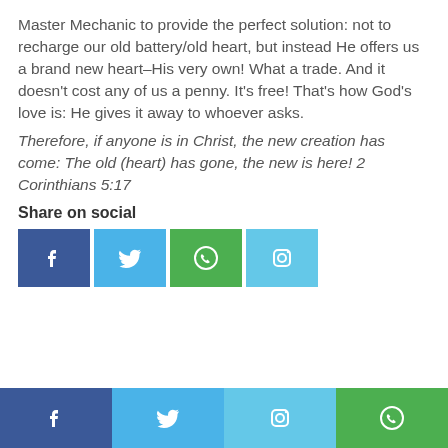Master Mechanic to provide the perfect solution: not to recharge our old battery/old heart, but instead He offers us a brand new heart–His very own! What a trade. And it doesn't cost any of us a penny. It's free! That's how God's love is: He gives it away to whoever asks.
Therefore, if anyone is in Christ, the new creation has come: The old (heart) has gone, the new is here! 2 Corinthians 5:17
Share on social
[Figure (infographic): Row of four social media share buttons: Facebook (dark blue), Twitter (light blue), WhatsApp (green), Instagram (light blue)]
Footer social bar: Facebook, Twitter, Instagram, WhatsApp icons